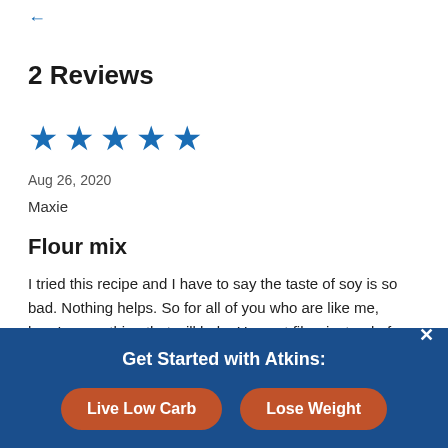← (back arrow)
2 Reviews
[Figure (other): Five blue stars rating]
Aug 26, 2020
Maxie
Flour mix
I tried this recipe and I have to say the taste of soy is so bad. Nothing helps. So for all of you who are like me, here's something that will help. Use oat fiber instead of soy flour. It has no net carbs and no flavor. I call that a win-win. I made blueberry muffins with a cinnamon crumble, only 1.8 carbs a
Get Started with Atkins: Live Low Carb  Lose Weight